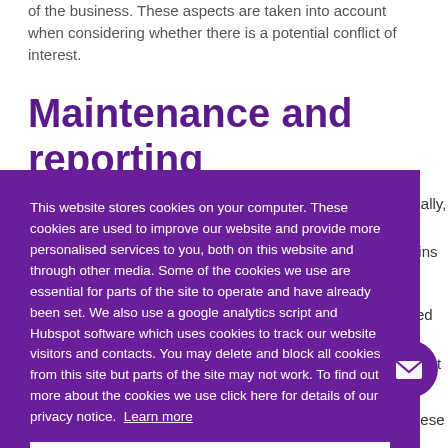of the business. These aspects are taken into account when considering whether there is a potential conflict of interest.
Maintenance and reporting
[Figure (screenshot): Cookie consent overlay with purple background. Contains text: 'This website stores cookies on your computer. These cookies are used to improve our website and provide more personalised services to you, both on this website and through other media. Some of the cookies we use are essential for parts of the site to operate and have already been set. We also use a google analytics script and Hubspot software which uses cookies to track our website visitors and contacts. You may delete and block all cookies from this site but parts of the site may not work. To find out more about the cookies we use click here for details of our privacy notice. Learn more'. Contains a white button with 'Got it!' text. A purple email icon circle appears in the bottom right.]